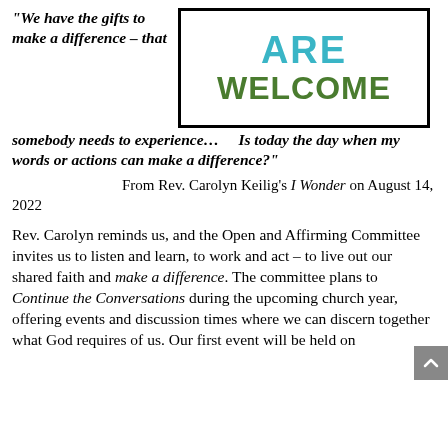“We have the gifts to make a difference – that somebody needs to experience…    Is today the day when my words or actions can make a difference?”
[Figure (illustration): A sign with black border reading 'ARE WELCOME' in large text: 'ARE' in teal/cyan letters, 'WELCOME' in green letters on white background]
From Rev. Carolyn Keilig’s I Wonder on August 14, 2022
Rev. Carolyn reminds us, and the Open and Affirming Committee invites us to listen and learn, to work and act – to live out our shared faith and make a difference. The committee plans to Continue the Conversations during the upcoming church year, offering events and discussion times where we can discern together what God requires of us. Our first event will be held on